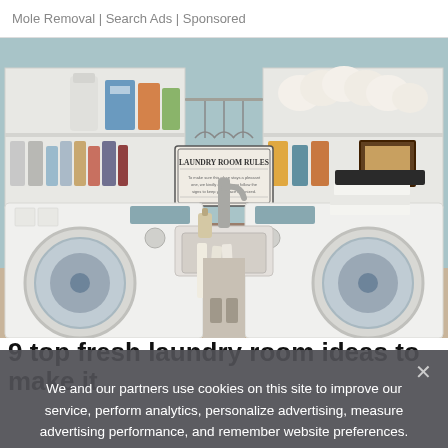Mole Removal | Search Ads | Sponsored
[Figure (photo): A neatly organized laundry room with white cabinets and open shelves holding laundry products, a towel bar with empty hangers, a sign reading 'LAUNDRY ROOM RULES', rolls of paper towels, a farmhouse sink with a faucet, a brown countertop, and two front-loading washing machines on either side.]
9 top fresh laundry room ideas to make it
We and our partners use cookies on this site to improve our service, perform analytics, personalize advertising, measure advertising performance, and remember website preferences.
Ok